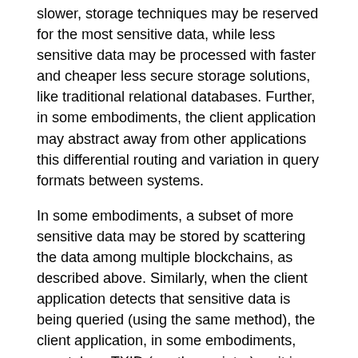slower, storage techniques may be reserved for the most sensitive data, while less sensitive data may be processed with faster and cheaper less secure storage solutions, like traditional relational databases. Further, in some embodiments, the client application may abstract away from other applications this differential routing and variation in query formats between systems.
In some embodiments, a subset of more sensitive data may be stored by scattering the data among multiple blockchains, as described above. Similarly, when the client application detects that sensitive data is being queried (using the same method), the client application, in some embodiments, may take a TXID (or other pointer) as it is coming from the database, send it to an arbiter instance for reassembly, confirm that the request has valid permissioning and if so, place the reassembled data in place of the TXID.
Because some embodiments intercept the data in the data path, some embodiments are able to produce an additional audit log which shows all attempts to access the data, as described in greater detail below. In some cases, these access logs can be notated with request-specific